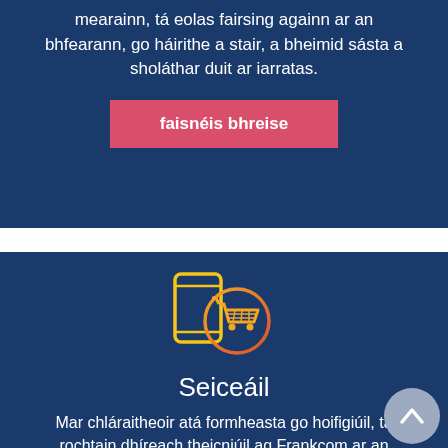mearainn, tá eolas fairsing againn ar an bhfearann, go háirithe a stair, a bheimid sásta a sholáthar duit ar iarratas.
faisnéis bhreise
[Figure (illustration): Icon showing a mobile phone with a shopping cart circle overlay, rendered in yellow and orange gradient colors on dark blue background]
Seiceáil
Mar chláraitheoir atá formheasta go hoifigiúil, tá rochtain dhíreach theicniúil ag Frankcom ar an bhfearann atá á thairiscint